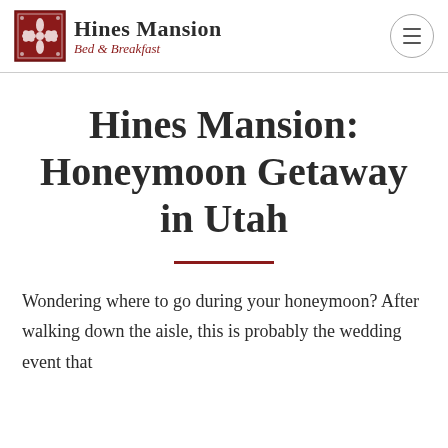Hines Mansion Bed & Breakfast
Hines Mansion: Honeymoon Getaway in Utah
Wondering where to go during your honeymoon? After walking down the aisle, this is probably the wedding event that